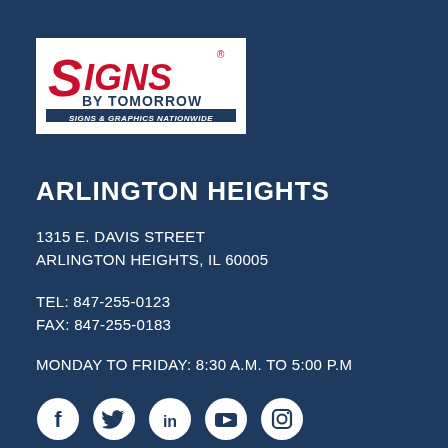[Figure (logo): Signs By Tomorrow logo — red italic SIGNS text over BY TOMORROW in dark blue, with tagline SIGNS & GRAPHICS NATIONWIDE on dark blue bar, all on white background]
ARLINGTON HEIGHTS
1315 E. DAVIS STREET
ARLINGTON HEIGHTS, IL 60005
TEL: 847-255-0123
FAX: 847-255-0183
MONDAY TO FRIDAY: 8:30 A.M. TO 5:00 P.M
[Figure (illustration): Five social media icons in white circles: Facebook, Twitter, LinkedIn, YouTube, Instagram]